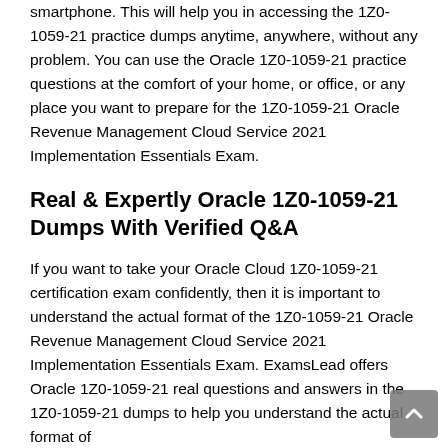smartphone. This will help you in accessing the 1Z0-1059-21 practice dumps anytime, anywhere, without any problem. You can use the Oracle 1Z0-1059-21 practice questions at the comfort of your home, or office, or any place you want to prepare for the 1Z0-1059-21 Oracle Revenue Management Cloud Service 2021 Implementation Essentials Exam.
Real & Expertly Oracle 1Z0-1059-21 Dumps With Verified Q&A
If you want to take your Oracle Cloud 1Z0-1059-21 certification exam confidently, then it is important to understand the actual format of the 1Z0-1059-21 Oracle Revenue Management Cloud Service 2021 Implementation Essentials Exam. ExamsLead offers Oracle 1Z0-1059-21 real questions and answers in the 1Z0-1059-21 dumps to help you understand the actual format of